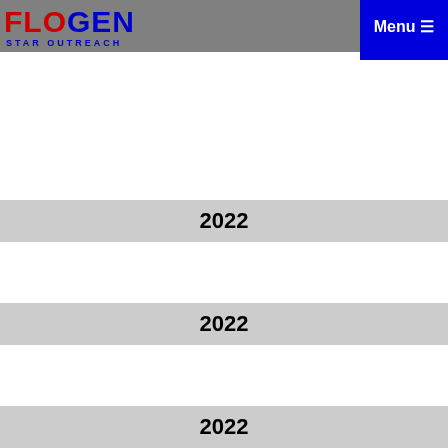FLOGEN STAR OUTREACH | Menu
2022
2022
2022
2022